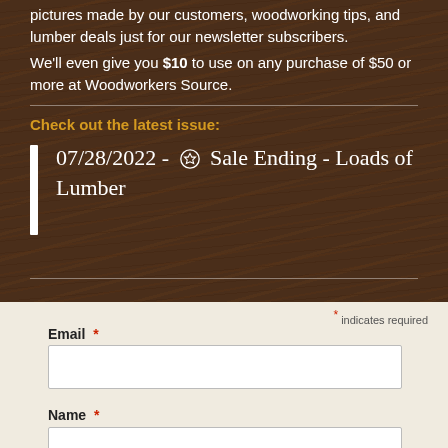pictures made by our customers, woodworking tips, and lumber deals just for our newsletter subscribers.
We'll even give you $10 to use on any purchase of $50 or more at Woodworkers Source.
Check out the latest issue:
07/28/2022 - 🎯 Sale Ending - Loads of Lumber
* indicates required
Email *
Name *